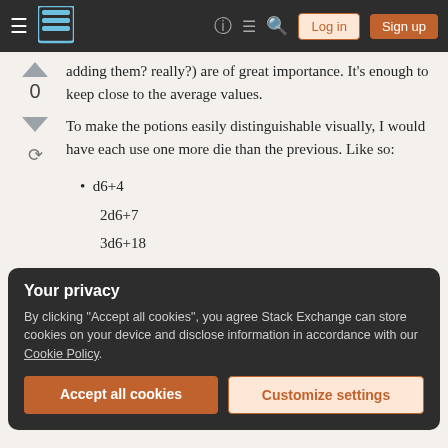Stack Exchange navigation bar with Log in and Sign up buttons
adding them? really?) are of great importance. It's enough to keep close to the average values.
To make the potions easily distinguishable visually, I would have each use one more die than the previous. Like so:
d6+4
2d6+7
3d6+18
Your privacy
By clicking "Accept all cookies", you agree Stack Exchange can store cookies on your device and disclose information in accordance with our Cookie Policy.